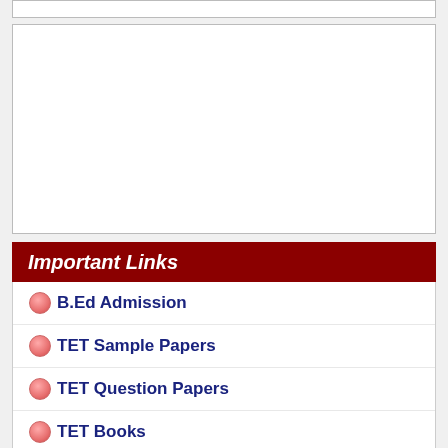[Figure (other): White empty box at top, partially cropped]
[Figure (other): Large white empty content box]
Important Links
B.Ed Admission
TET Sample Papers
TET Question Papers
TET Books
TET Application Form